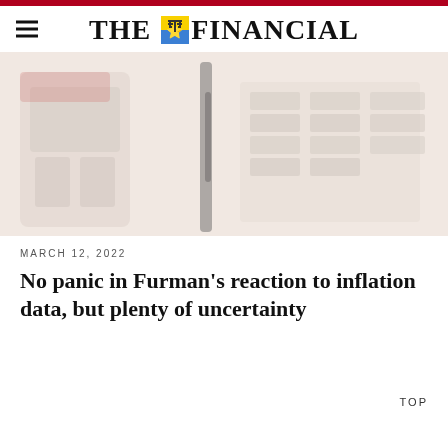THE FINANCIAL
[Figure (photo): Blurred photo of what appears to be gas station pumps or fuel dispensers with signage in the background, muted reddish and white tones.]
MARCH 12, 2022
No panic in Furman's reaction to inflation data, but plenty of uncertainty
TOP